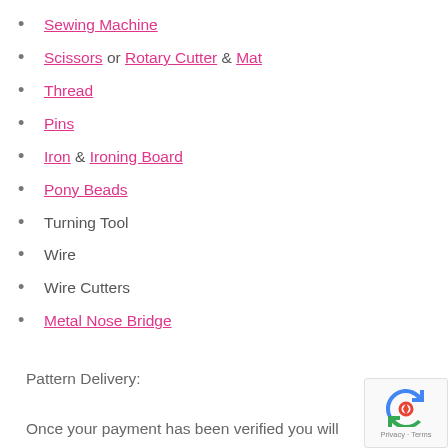Sewing Machine
Scissors or Rotary Cutter & Mat
Thread
Pins
Iron & Ironing Board
Pony Beads
Turning Tool
Wire
Wire Cutters
Metal Nose Bridge
Pattern Delivery:
Once your payment has been verified you will